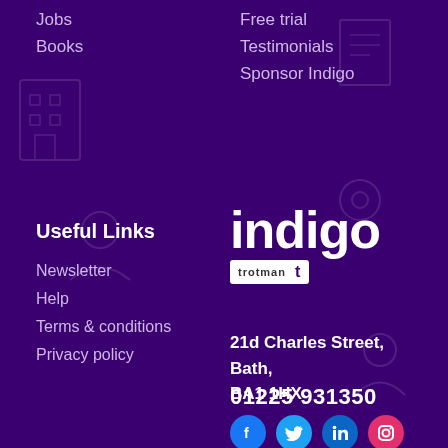Jobs
Books
Free trial
Testimonials
Sponsor Indigo
Useful Links
Newsletter
Help
Terms & conditions
Privacy policy
[Figure (logo): Indigo logo with Trotman badge]
21d Charles Street, Bath, BA1 1HX
01225 931350
[Figure (infographic): Social media icons: Facebook, Twitter, LinkedIn, Instagram]